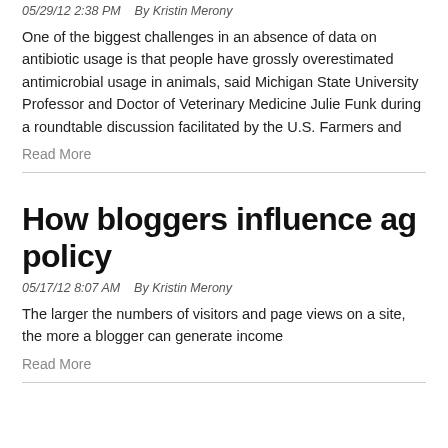05/29/12 2:38 PM    By Kristin Merony
One of the biggest challenges in an absence of data on antibiotic usage is that people have grossly overestimated antimicrobial usage in animals, said Michigan State University Professor and Doctor of Veterinary Medicine Julie Funk during a roundtable discussion facilitated by the U.S. Farmers and
Read More
How bloggers influence ag policy
05/17/12 8:07 AM    By Kristin Merony
The larger the numbers of visitors and page views on a site, the more a blogger can generate income
Read More